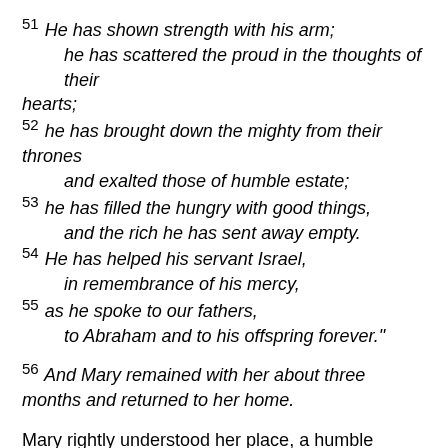51 He has shown strength with his arm; he has scattered the proud in the thoughts of their hearts;
52 he has brought down the mighty from their thrones and exalted those of humble estate;
53 he has filled the hungry with good things, and the rich he has sent away empty.
54 He has helped his servant Israel, in remembrance of his mercy,
55 as he spoke to our fathers, to Abraham and to his offspring forever."
56 And Mary remained with her about three months and returned to her home.
Mary rightly understood her place, a humble servant, and knew that all generations would caller her blessed. Not by